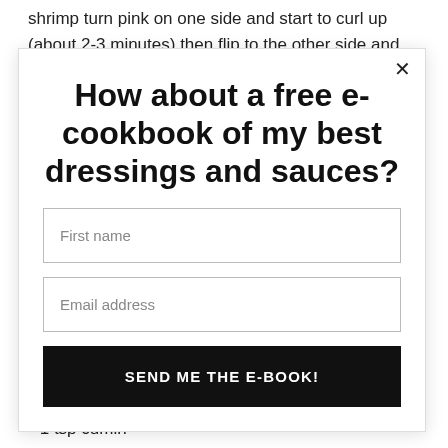shrimp turn pink on one side and start to curl up (about 2-3 minutes) then flip to the other side and cook for
How about a free e-cookbook of my best dressings and sauces?
First name
Email address
SEND ME THE E-BOOK!
1 tsp kosher salt
1 tsp cumin